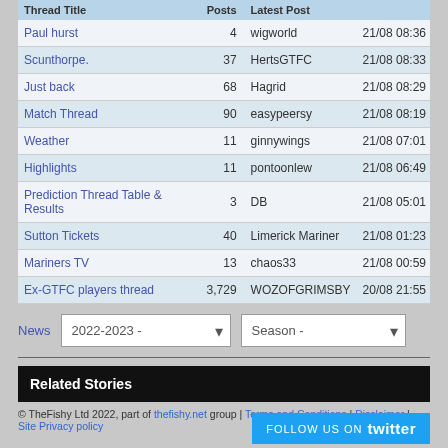| Thread Title | Posts | Latest Post |
| --- | --- | --- |
| Paul hurst | 4 | wigworld | 21/08 08:36 |
| Scunthorpe. | 37 | HertsGTFC | 21/08 08:33 |
| Just back | 68 | Hagrid | 21/08 08:29 |
| Match Thread | 90 | easypeersy | 21/08 08:19 |
| Weather | 11 | ginnywings | 21/08 07:01 |
| Highlights | 11 | pontoonlew | 21/08 06:49 |
| Prediction Thread Table & Results | 3 | DB | 21/08 05:01 |
| Sutton Tickets | 40 | Limerick Mariner | 21/08 01:23 |
| Mariners TV | 13 | chaos33 | 21/08 00:59 |
| Ex-GTFC players thread | 3,729 | WOZOFGRIMSBY | 20/08 21:55 |
News  2022-2023 -  Season -
Related Stories
© TheFishy Ltd 2022, part of thefishy.net group | Terms and Conditions | Disclaimer | Site Privacy policy